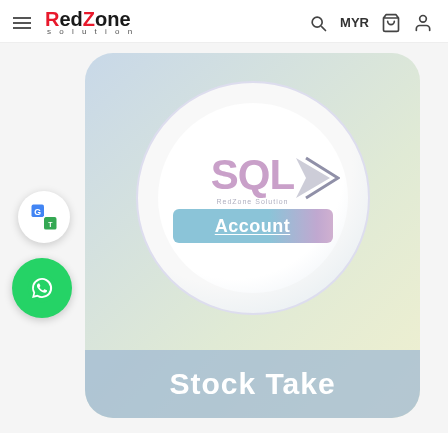RedZone Solution — MYR
[Figure (screenshot): SQL Account product image with SQL logo in a circle, 'RedZone Solution' watermark, 'Account' blue banner, and 'Stock Take' label at the bottom. Google Translate and WhatsApp floating buttons on the left side.]